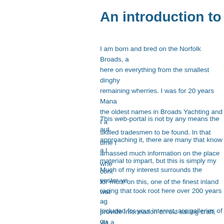An introduction to this s
I am born and bred on the Norfolk Broads, a here on everything from the smallest dinghy remaining wherries. I was for 20 years Mana the oldest names in Broads Yachting and I a skilled tradesmen to be found. In that time I amassed much information on the place whe
This web-portal is not by any means the aut approaching it, there are many that know a l material to impart, but this is simply my cont for more on this, one of the finest inland wat
Much of my interest surrounds the yester-ye racing that took root here over 200 years ag provide information on old sailing craft, via a collections of Lloyds Yacht Registers still in e through to 1980.
Included for your interest, are galleries of qu gone by, along with more recent pictures an progress, there will be further additions over contribution.